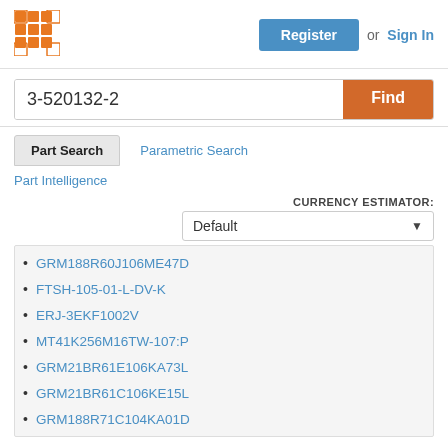[Figure (logo): Orange grid/matrix logo icon]
Register or Sign In
3-520132-2
Find
Part Search
Parametric Search
Part Intelligence
CURRENCY ESTIMATOR: Default
GRM188R60J106ME47D
FTSH-105-01-L-DV-K
ERJ-3EKF1002V
MT41K256M16TW-107:P
GRM21BR61E106KA73L
GRM21BR61C106KE15L
GRM188R71C104KA01D